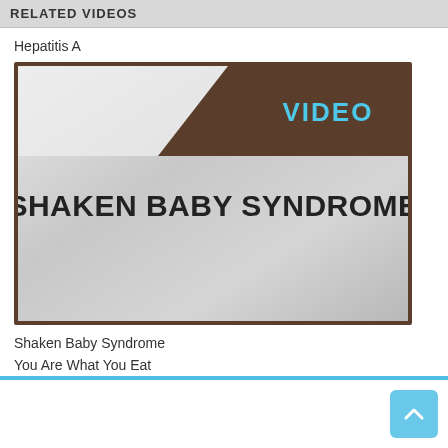RELATED VIDEOS
Hepatitis A
[Figure (screenshot): Video thumbnail showing text 'SHAKEN BABY SYNDROME' on a grey background with 'VIDEO' label in cyan text on a brown banner in the top right corner]
Shaken Baby Syndrome
You Are What You Eat